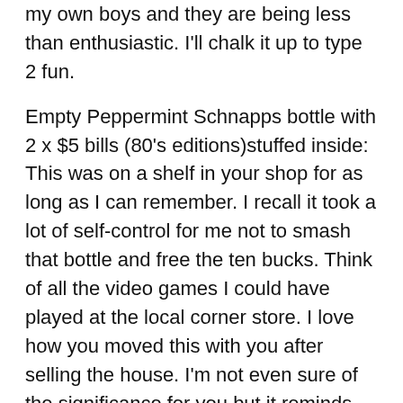my own boys and they are being less than enthusiastic. I'll chalk it up to type 2 fun.
Empty Peppermint Schnapps bottle with 2 x $5 bills (80's editions)stuffed inside: This was on a shelf in your shop for as long as I can remember. I recall it took a lot of self-control for me not to smash that bottle and free the ten bucks. Think of all the video games I could have played at the local corner store. I love how you moved this with you after selling the house. I'm not even sure of the significance for you but it reminds me of you, and your shop, and our time in the shop and you'll be happy to know it is safe for a little while longer. We'll see if my boys have the same restraint.
Old Fly Reel and a Photo of you and the boys on the Highwood River in 1978: